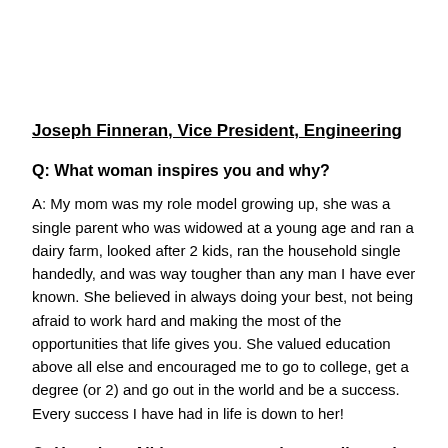Joseph Finneran, Vice President, Engineering
Q: What woman inspires you and why?
A: My mom was my role model growing up, she was a single parent who was widowed at a young age and ran a dairy farm, looked after 2 kids, ran the household single handedly, and was way tougher than any man I have ever known. She believed in always doing your best, not being afraid to work hard and making the most of the opportunities that life gives you. She valued education above all else and encouraged me to go to college, get a degree (or 2) and go out in the world and be a success. Every success I have had in life is down to her!
Q: How does Alida promote gender equality and diversity?